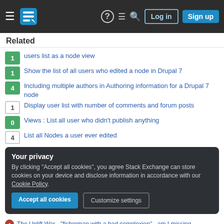Stack Exchange navigation bar with Log in and Sign up buttons
Related
1 users list as a node view
1 Show the list of all users who edited a node in Drupal 7
4 Including multiple authors in Authoring information for a Drupal 7 node
1 Display user list with number of comments and forum posts
0 Views : List all user who didn't publish anything
4 List all Nodes a user ever edited
Your privacy
By clicking "Accept all cookies", you agree Stack Exchange can store cookies on your device and disclose information in accordance with our Cookie Policy.
Accept all cookies | Customize settings
The Uplift War - "fisherman with a bad complexion" - am I missing